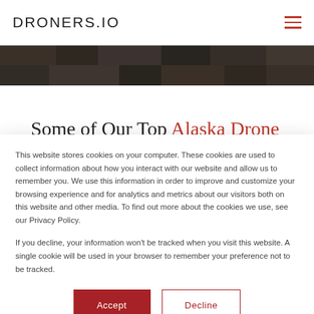DRONERS.IO
[Figure (photo): Aerial/drone photo strip used as a hero banner, dark toned top-down view of urban or landscape area]
Some of Our Top Alaska Drone
This website stores cookies on your computer. These cookies are used to collect information about how you interact with our website and allow us to remember you. We use this information in order to improve and customize your browsing experience and for analytics and metrics about our visitors both on this website and other media. To find out more about the cookies we use, see our Privacy Policy.

If you decline, your information won't be tracked when you visit this website. A single cookie will be used in your browser to remember your preference not to be tracked.
Accept
Decline